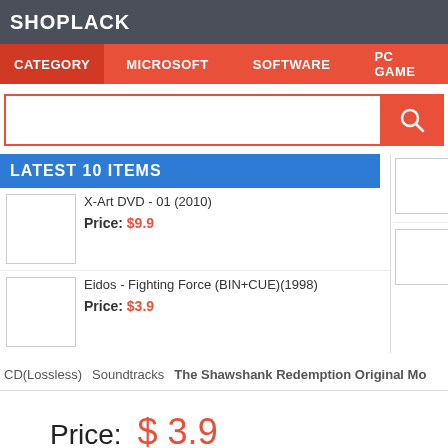SHOPLACK
CATEGORY   MICROSOFT   SOFTWARE   PC GAME
Search bar
LATEST 10 ITEMS
X-Art DVD - 01 (2010)
Price: $9.9
Eidos - Fighting Force (BIN+CUE)(1998)
Price: $3.9
Microsoft Mo...
Price: $9.9
Roger Whitt...
Price: $3.9
CD(Lossless)   Soundtracks   The Shawshank Redemption Original Mo
Price:  $ 3.9